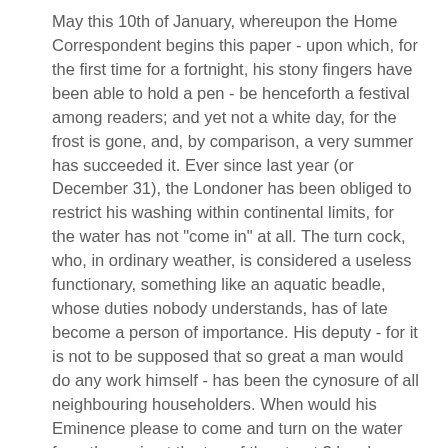May this 10th of January, whereupon the Home Correspondent begins this paper - upon which, for the first time for a fortnight, his stony fingers have been able to hold a pen - be henceforth a festival among readers; and yet not a white day, for the frost is gone, and, by comparison, a very summer has succeeded it. Ever since last year (or December 31), the Londoner has been obliged to restrict his washing within continental limits, for the water has not "come in" at all. The turn cock, who, in ordinary weather, is considered a useless functionary, something like an aquatic beadle, whose duties nobody understands, has of late become a person of importance. His deputy - for it is not to be supposed that so great a man would do any work himself - has been the cynosure of all neighbouring householders. When would his Eminence please to come and turn on the water from the main at the top of the street ? has been literally the great question of the day. It